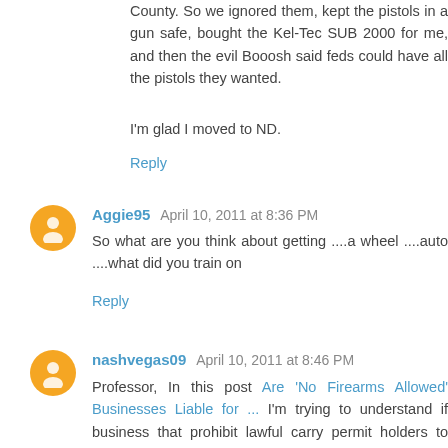County. So we ignored them, kept the pistols in a gun safe, bought the Kel-Tec SUB 2000 for me, and then the evil Booosh said feds could have all the pistols they wanted.
I'm glad I moved to ND.
Reply
Aggie95  April 10, 2011 at 8:36 PM
So what are you think about getting ....a wheel ....auto ....what did you train on
Reply
nashvegas09  April 10, 2011 at 8:46 PM
Professor, In this post Are 'No Firearms Allowed' Businesses Liable for ... I'm trying to understand if business that prohibit lawful carry permit holders to abandon their arms while in their establishment are liable for their saftey? Do the 'property rights' of the business owner absolve them from liability for my safety as one response I receive claims: